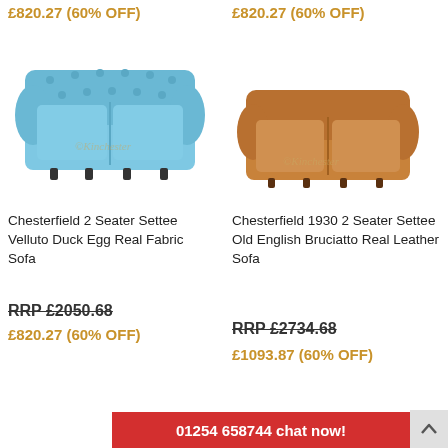£820.27 (60% OFF)
£820.27 (60% OFF)
[Figure (photo): Light blue Chesterfield 2-seater sofa with tufted back and rolled arms]
[Figure (photo): Tan/brown leather Chesterfield 1930 2-seater sofa with rolled arms]
Chesterfield 2 Seater Settee Velluto Duck Egg Real Fabric Sofa
Chesterfield 1930 2 Seater Settee Old English Bruciatto Real Leather Sofa
RRP £2050.68
£820.27 (60% OFF)
RRP £2734.68
£1093.87 (60% OFF)
01254 658744 chat now!